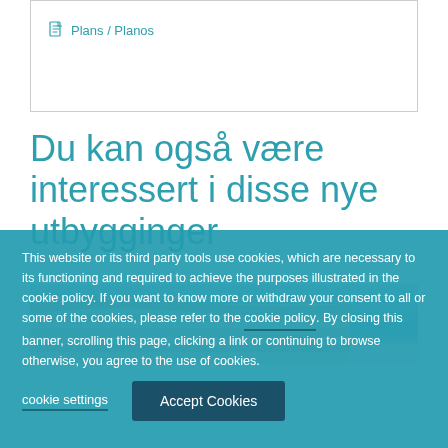Plans / Planos
Du kan også være interessert i disse nye utbygginger
[Figure (photo): Exterior photo of a modern curved white building with blue sky background]
This website or its third party tools use cookies, which are necessary to its functioning and required to achieve the purposes illustrated in the cookie policy. If you want to know more or withdraw your consent to all or some of the cookies, please refer to the cookie policy. By closing this banner, scrolling this page, clicking a link or continuing to browse otherwise, you agree to the use of cookies.
cookie settings
Accept Cookies